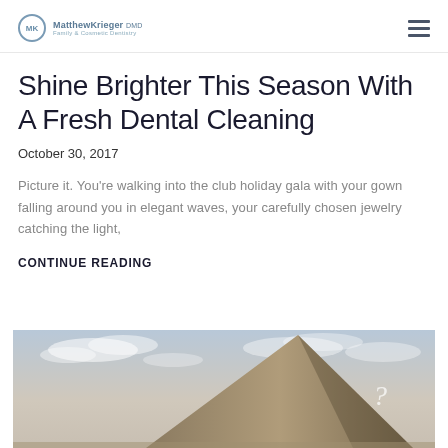MK MatthewKrieger DMD [hamburger menu icon]
Shine Brighter This Season With A Fresh Dental Cleaning
October 30, 2017
Picture it. You're walking into the club holiday gala with your gown falling around you in elegant waves, your carefully chosen jewelry catching the light,
CONTINUE READING
[Figure (photo): Photo of Egyptian pyramid with cloudy sky background and a question mark symbol visible]